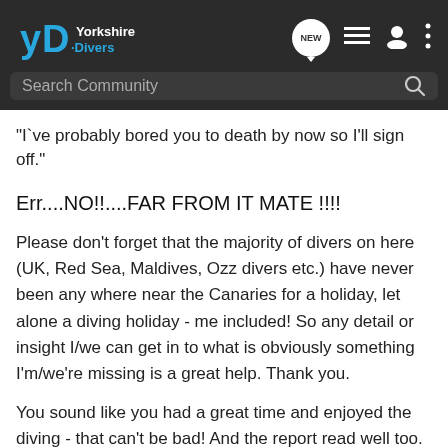[Figure (screenshot): Yorkshire Divers website header with logo, NEW chat bubble icon, list icon, user icon, and three-dot menu]
"I`ve probably bored you to death by now so I'll sign off."
Err....NO!!....FAR FROM IT MATE !!!!
Please don't forget that the majority of divers on here (UK, Red Sea, Maldives, Ozz divers etc.) have never been any where near the Canaries for a holiday, let alone a diving holiday - me included! So any detail or insight I/we can get in to what is obviously something I'm/we're missing is a great help. Thank you.
You sound like you had a great time and enjoyed the diving - that can't be bad! And the report read well too. Looks like Mike/Scuba1 might just well be getting a rush of enquiries as it